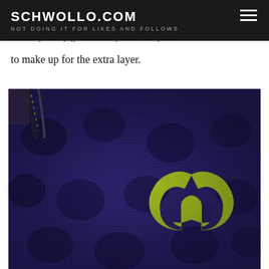SCHWOLLO.COM
NOT DOING IT FOR LIKES AND FOLLOWS
How, the shoes ride at the same height despite the extra Charged Foam layer. My guess is they took away a little bit of the Micro G to make up for the extra layer.
[Figure (photo): Close-up photo of a dark navy/purple Under Armour drawstring bag with textured mesh fabric and a bright neon yellow/green Under Armour logo on the right side.]